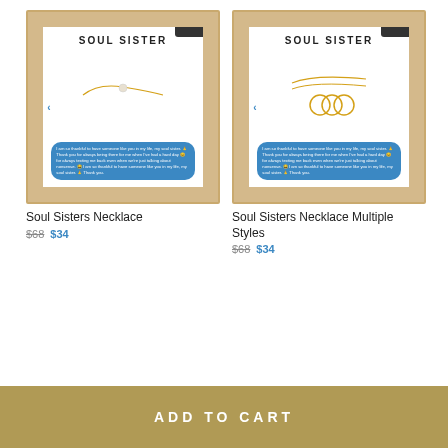[Figure (photo): Soul Sisters pearl necklace in a gift box with blue text message bubble and 'Soul Sister' text]
Soul Sisters Necklace
$68  $34
[Figure (photo): Soul Sisters multiple circles necklace in a gift box with blue text message bubble and 'Soul Sister' text]
Soul Sisters Necklace Multiple Styles
$68  $34
ADD TO CART